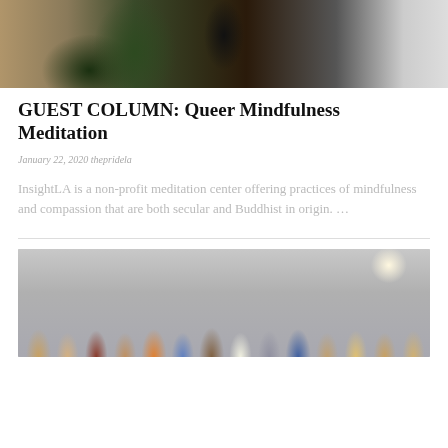[Figure (photo): Top portion of photo showing a person in dark clothing near large green tropical leaves, with an orange/tan background]
GUEST COLUMN: Queer Mindfulness Meditation
January 22, 2020 thepridela
InsightLA is a non-profit meditation center offering practices of mindfulness and compassion that are both secular and Buddhist in origin. …
[Figure (photo): Group photo of approximately 14 people standing together in front of a light gray wall, appearing to be indoors with overhead lighting]